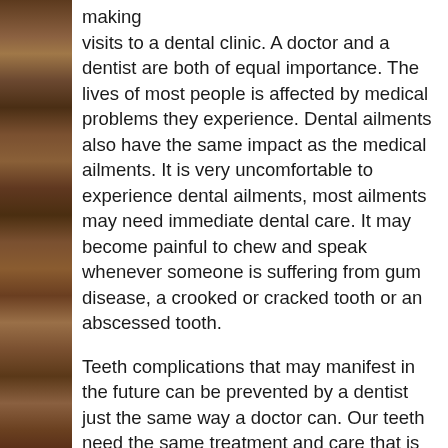[Figure (photo): Vertical strip of brown/dark photographic images along the left margin, appearing to show close-up or detail shots in earthy brown tones]
making visits to a dental clinic. A doctor and a dentist are both of equal importance. The lives of most people is affected by medical problems they experience. Dental ailments also have the same impact as the medical ailments. It is very uncomfortable to experience dental ailments, most ailments may need immediate dental care. It may become painful to chew and speak whenever someone is suffering from gum disease, a crooked or cracked tooth or an abscessed tooth.

Teeth complications that may manifest in the future can be prevented by a dentist just the same way a doctor can. Our teeth need the same treatment and care that is afforded to our bodies in the prevention of diseases and injuries. According to studies, there is a connection between dental health and the general health of a person. When you do not properly care for your teeth, you become susceptible to heart disease, Alzheimer's, high